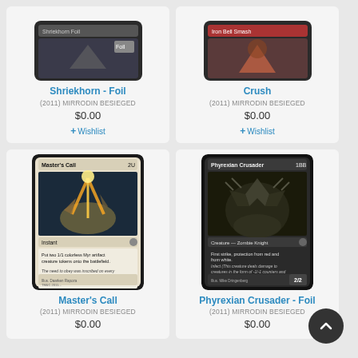[Figure (illustration): Magic: The Gathering card - Shriekhorn (Foil) partial image showing card art]
Shriekhorn - Foil
(2011) MIRRODIN BESIEGED
$0.00
+ Wishlist
[Figure (illustration): Magic: The Gathering card - Crush partial image showing card art]
Crush
(2011) MIRRODIN BESIEGED
$0.00
+ Wishlist
[Figure (illustration): Magic: The Gathering card - Master's Call showing full card with artwork of mechanical claws reaching toward light, Instant type, text: Put two 1/1 colorless Myr artifact creature tokens onto the battlefield.]
Master's Call
(2011) MIRRODIN BESIEGED
$0.00
[Figure (illustration): Magic: The Gathering card - Phyrexian Crusader (Foil) showing full card with artwork of dark armored creature, Creature - Zombie Knight, First strike, protection from red and from white, Infect, 2/2]
Phyrexian Crusader - Foil
(2011) MIRRODIN BESIEGED
$0.00